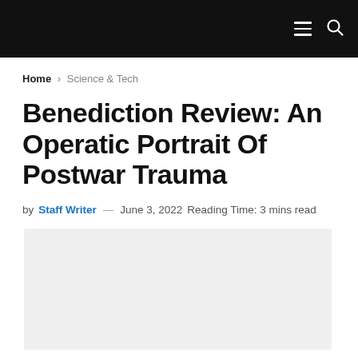navigation bar with hamburger menu and search icon
Home > Science & Tech
Benediction Review: An Operatic Portrait Of Postwar Trauma
by Staff Writer — June 3, 2022  Reading Time: 3 mins read
[Figure (photo): Light gray image placeholder for article feature image]